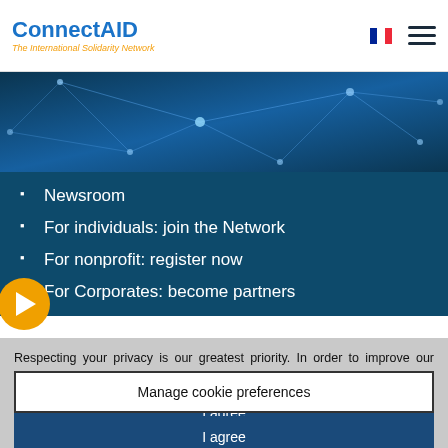ConnectAID — The International Solidarity Network
[Figure (screenshot): Network connectivity hero banner image with blue tones and node/line network graphic]
Newsroom
For individuals: join the Network
For nonprofit: register now
For Corporates: become partners
Respecting your privacy is our greatest priority. In order to improve our services, ConnectAID uses cookies to provide you with optimal navigation on the platform, measure our audience, and optimize our social networking features such as content sharing. By continuing to browse this site, you agree to the use of cookies as outlined in our Data Protection Policy.
Manage cookie preferences
I agree